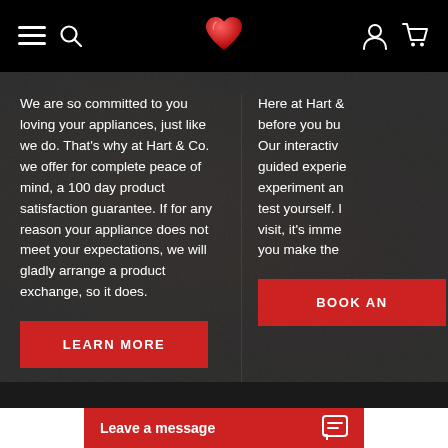[Figure (screenshot): Black navigation bar with hamburger menu, search icon, red heart logo in center, user account icon and shopping cart icon on right]
We are so committed to you loving your appliances, just like we do. That's why at Hart & Co. we offer for complete peace of mind, a 100 day product satisfaction guarantee. If for any reason your appliance does not meet your expectations, we will gladly arrange a product exchange, so it does.
Here at Hart & before you bu Our interactiv guided experie experiment an test yourself. I visit, it's imme you make the
[Figure (other): Red 'LEARN MORE' button]
[Figure (other): Red 'BOOK AN' button (partially visible)]
[Figure (other): Red chat bar at bottom reading 'Leave a message' with chat bubble icon]